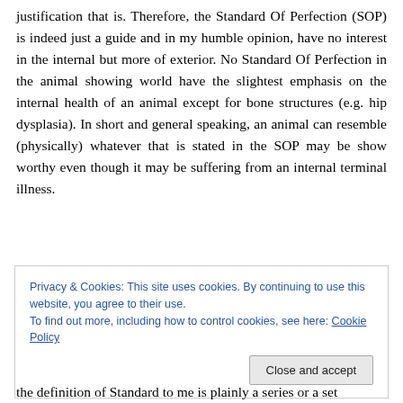justification that is. Therefore, the Standard Of Perfection (SOP) is indeed just a guide and in my humble opinion, have no interest in the internal but more of exterior. No Standard Of Perfection in the animal showing world have the slightest emphasis on the internal health of an animal except for bone structures (e.g. hip dysplasia). In short and general speaking, an animal can resemble (physically) whatever that is stated in the SOP may be show worthy even though it may be suffering from an internal terminal illness.
Privacy & Cookies: This site uses cookies. By continuing to use this website, you agree to their use. To find out more, including how to control cookies, see here: Cookie Policy
the definition of Standard to me is plainly a series or a set